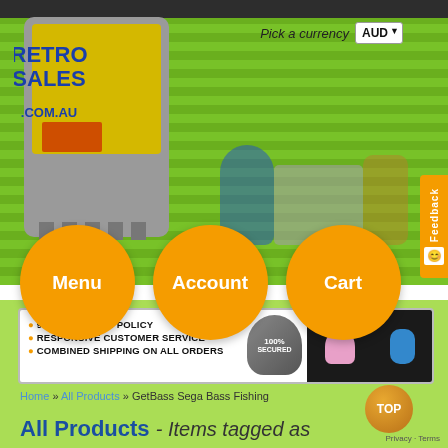[Figure (screenshot): Retro Sales .com.au website header banner with green striped background, pixel art characters (Sonic, Mario, other retro characters), and a Game Boy cartridge logo. Currency picker showing AUD.]
[Figure (infographic): Three orange circular navigation buttons labeled Menu, Account, Cart]
[Figure (infographic): Benefits banner showing: 90 DAY RETURN POLICY, RESPONSIVE CUSTOMER SERVICE, COMBINED SHIPPING ON ALL ORDERS with 100% SECURED badge and retro game characters]
Home » All Products » GetBass Sega Bass Fishing
All Products - Items tagged as